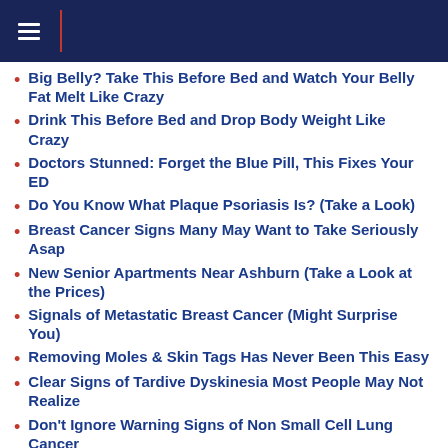Navigation menu header bar
Big Belly? Take This Before Bed and Watch Your Belly Fat Melt Like Crazy
Drink This Before Bed and Drop Body Weight Like Crazy
Doctors Stunned: Forget the Blue Pill, This Fixes Your ED
Do You Know What Plaque Psoriasis Is? (Take a Look)
Breast Cancer Signs Many May Want to Take Seriously Asap
New Senior Apartments Near Ashburn (Take a Look at the Prices)
Signals of Metastatic Breast Cancer (Might Surprise You)
Removing Moles & Skin Tags Has Never Been This Easy
Clear Signs of Tardive Dyskinesia Most People May Not Realize
Don't Ignore Warning Signs of Non Small Cell Lung Cancer